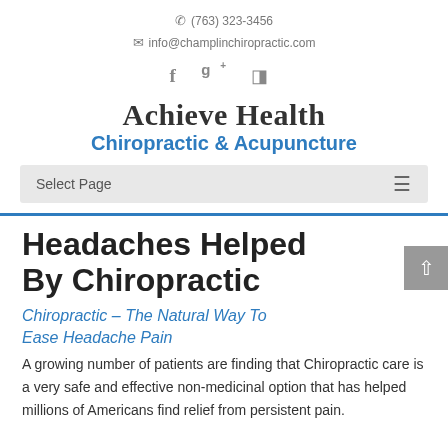(763) 323-3456  info@champlinchiropractic.com
[Figure (illustration): Social media icons: Facebook (f), Google+ (g+), RSS feed]
Achieve Health Chiropractic & Acupuncture
Select Page
Headaches Helped By Chiropractic
Chiropractic – The Natural Way To Ease Headache Pain
A growing number of patients are finding that Chiropractic care is a very safe and effective non-medicinal option that has helped millions of Americans find relief from persistent pain.